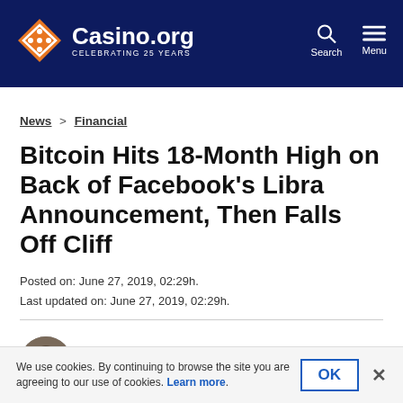Casino.org CELEBRATING 25 YEARS
News > Financial
Bitcoin Hits 18-Month High on Back of Facebook's Libra Announcement, Then Falls Off Cliff
Posted on: June 27, 2019, 02:29h.
Last updated on: June 27, 2019, 02:29h.
Philip Conneller
Read More
It's been a rollercoaster week for bitcoin gamblers, who saw the value of their bankrolls skyrocket as the currency
We use cookies. By continuing to browse the site you are agreeing to our use of cookies. Learn more.